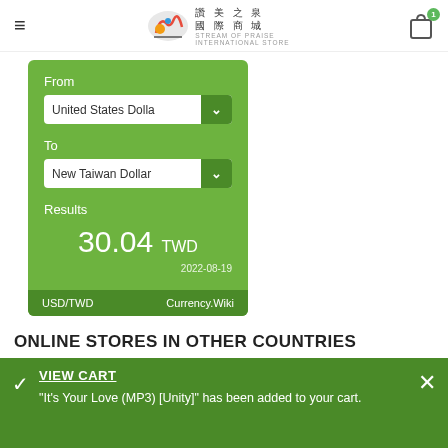讚美之泉 國際商城 STREAM OF PRAISE INTERNATIONAL STORE
[Figure (screenshot): Currency converter widget showing conversion from United States Dollar to New Taiwan Dollar with result 30.04 TWD, dated 2022-08-19, source USD/TWD Currency.Wiki]
ONLINE STORES IN OTHER COUNTRIES
VIEW CART
"It's Your Love (MP3) [Unity]" has been added to your cart.